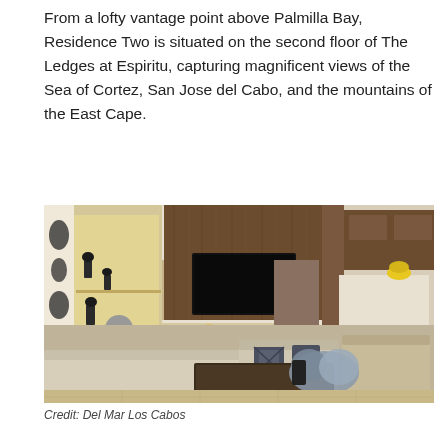From a lofty vantage point above Palmilla Bay, Residence Two is situated on the second floor of The Ledges at Espiritu, capturing magnificent views of the Sea of Cortez, San Jose del Cabo, and the mountains of the East Cape.
[Figure (photo): Interior photo of a luxury living room with beige sectional sofa, dark wood accent wall with mounted TV and linear fireplace, decorative shelves with black figurines, patterned curtains, ceiling fan, and a view into a kitchen/dining area. Decorative blue and white coral objects on dark wood coffee table in foreground.]
Credit: Del Mar Los Cabos